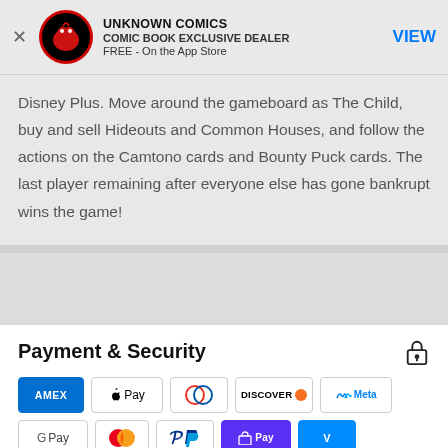[Figure (logo): Unknown Comics app store banner with red dragon logo, title UNKNOWN COMICS, subtitle COMIC BOOK EXCLUSIVE DEALER, FREE - On the App Store, and a VIEW button]
Disney Plus. Move around the gameboard as The Child, buy and sell Hideouts and Common Houses, and follow the actions on the Camtono cards and Bounty Puck cards. The last player remaining after everyone else has gone bankrupt wins the game!
Payment & Security
[Figure (infographic): Payment method logos: American Express, Apple Pay, Diners Club, Discover, Meta Pay, Google Pay, Mastercard, PayPal, Shop Pay, Venmo, Visa]